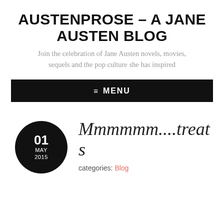AUSTENPROSE – A JANE AUSTEN BLOG
Join the celebration of Jane Austen novels, movies, sequels and the pop culture she has inspired
≡  MENU
01 MAY 2015
Mmmmmm....treats
categories: Blog